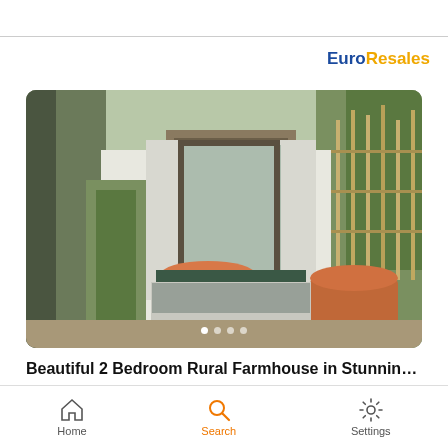[Figure (logo): EuroResales logo with Euro in blue and Resales in gold/yellow]
[Figure (photo): Outdoor photo of a rural farmhouse courtyard with terracotta pots, white walls, glass windows/doors, trees and bamboo fencing]
Beautiful 2 Bedroom Rural Farmhouse in Stunning Medit...
Castelraimondo
Property • 12 room(s) • 5 Bed. • 245 m²
€181,000
Home  Search  Settings